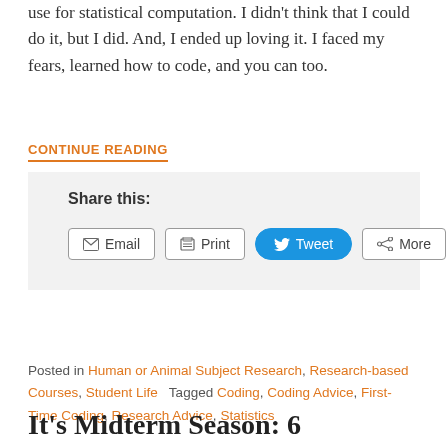use for statistical computation. I didn't think that I could do it, but I did. And, I ended up loving it. I faced my fears, learned how to code, and you can too.
CONTINUE READING
Share this:
Email   Print   Tweet   More
Posted in Human or Animal Subject Research, Research-based Courses, Student Life   Tagged Coding, Coding Advice, First-Time Coding, Research Advice, Statistics
It's Midterm Season: 6